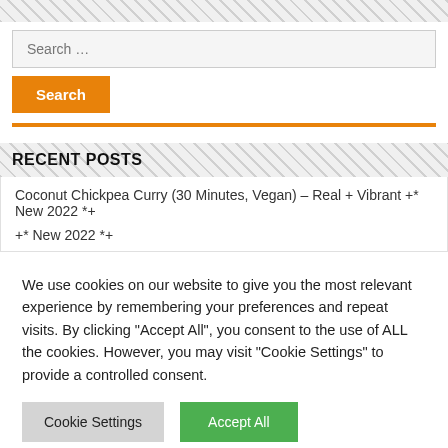[Figure (other): Hatched diagonal stripe pattern background at top of page]
Search …
Search
RECENT POSTS
Coconut Chickpea Curry (30 Minutes, Vegan) – Real + Vibrant +* New 2022 *+
+* New 2022 *+
We use cookies on our website to give you the most relevant experience by remembering your preferences and repeat visits. By clicking "Accept All", you consent to the use of ALL the cookies. However, you may visit "Cookie Settings" to provide a controlled consent.
Cookie Settings
Accept All